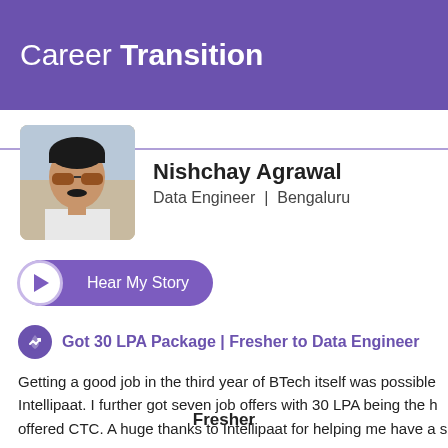Career Transition
[Figure (photo): Profile photo of Nishchay Agrawal - young man with sunglasses]
Nishchay Agrawal
Data Engineer | Bengaluru
Hear My Story
Got 30 LPA Package | Fresher to Data Engineer
Getting a good job in the third year of BTech itself was possible because of Intellipaat. I further got seven job offers with 30 LPA being the highest offered CTC. A huge thanks to Intellipaat for helping me have a s...
Read More
Fresher